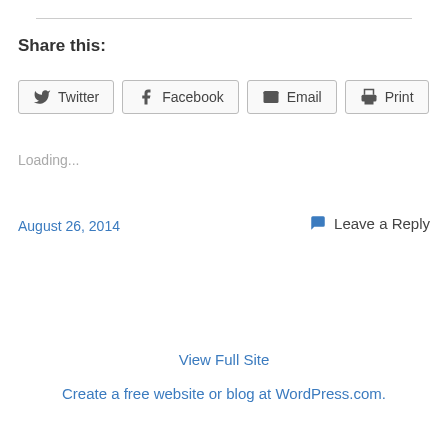Share this:
Twitter  Facebook  Email  Print
Loading...
August 26, 2014
Leave a Reply
View Full Site
Create a free website or blog at WordPress.com.